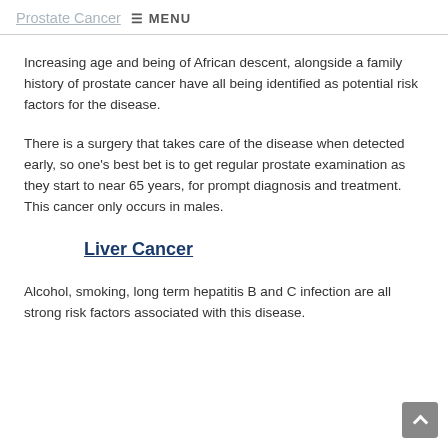Prostate Cancer ☰ MENU
Increasing age and being of African descent, alongside a family history of prostate cancer have all being identified as potential risk factors for the disease.
There is a surgery that takes care of the disease when detected early, so one's best bet is to get regular prostate examination as they start to near 65 years, for prompt diagnosis and treatment. This cancer only occurs in males.
Liver Cancer
Alcohol, smoking, long term hepatitis B and C infection are all strong risk factors associated with this disease.